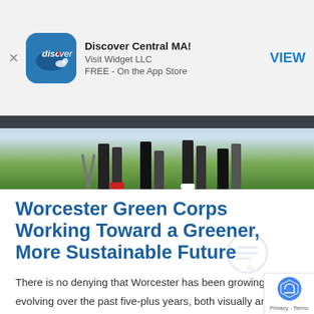[Figure (screenshot): App Store smart banner showing 'Discover Central MA!' app by Visit Widget LLC, FREE on the App Store, with VIEW button]
[Figure (photo): Photo of people standing outdoors, visible from waist down, on grass]
Worcester Green Corps Working Toward a Greener, More Sustainable Future
There is no denying that Worcester has been growing and evolving over the past five-plus years, both visually and economically. It is expected that the city will continue with this momentum, which in turn will attract more business and residents to the area. As Worcester grows, it is important to do so in a